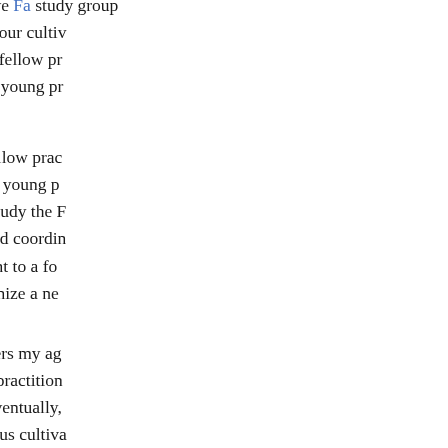the chance to participate in an intensive Fa study group helped us build a solid foundation for our cultivation, found and lost. I have been grateful to those fellow practitioners peaceful group study environment for young practitioners.
When I was a teenager years ago, a fellow practitioner said we were going to set up a study group for young practitioners. I liked this, because we had few chances to study the Fa with fellow practitioners. Not long before, a practitioner who had coordinated our group was arrested by the 610 Office and sent to a forced labor camp. No other practitioner had came forward to organize a new group.
I remember that only a few practitioners my age came to the first study. With guidance from an elderly practitioner, our Fa-study atmosphere was peaceful and light. Eventually, more young people joined the group, and we witnessed how each of us cultivated. One practitioner crossed his legs whenever he watched Master's lecture DVDs, another read the book aloud with an open heart